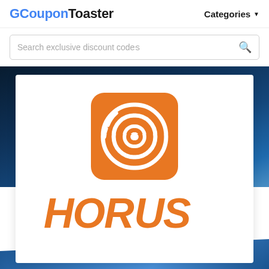CouponToaster   Categories
Search exclusive discount codes
[Figure (logo): Horus brand logo: orange rounded square with circular disc/radar icon on top, and 'HORUS' text in large orange italicized bold font below]